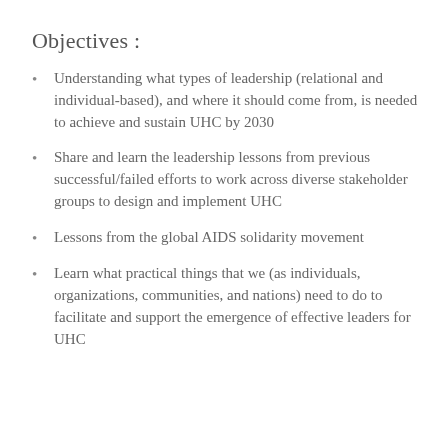Objectives :
Understanding what types of leadership (relational and individual-based), and where it should come from, is needed to achieve and sustain UHC by 2030
Share and learn the leadership lessons from previous successful/failed efforts to work across diverse stakeholder groups to design and implement UHC
Lessons from the global AIDS solidarity movement
Learn what practical things that we (as individuals, organizations, communities, and nations) need to do to facilitate and support the emergence of effective leaders for UHC